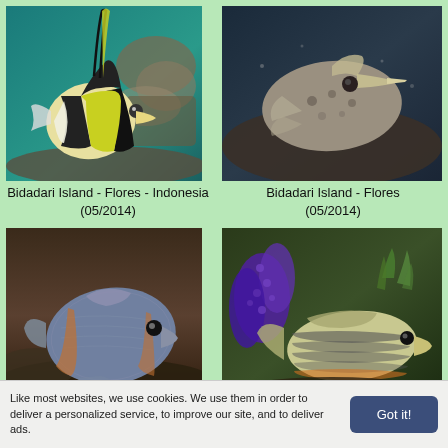[Figure (photo): Underwater photo of a Moorish idol fish (black, white, yellow stripes) near coral reef at Bidadari Island, Flores, Indonesia]
Bidadari Island - Flores - Indonesia (05/2014)
[Figure (photo): Underwater photo of a flat/round fish (pufferfish or similar) on sandy bottom at Bidadari Island, Flores]
Bidadari Island - Flores (05/2014)
[Figure (photo): Underwater photo of a triggerfish or similar species near rocky reef bottom at Bidadari Island, Flores, Indonesia]
[Figure (photo): Underwater photo of a striped surgeonfish near purple coral and green sea plants]
Like most websites, we use cookies. We use them in order to deliver a personalized service, to improve our site, and to deliver ads.